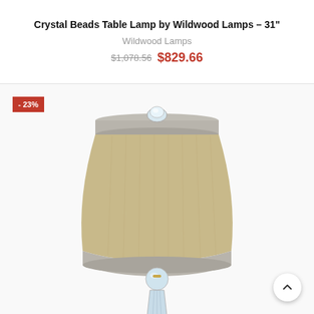Crystal Beads Table Lamp by Wildwood Lamps – 31"
Wildwood Lamps
$1,078.56 $829.66
[Figure (photo): Photo of a Crystal Beads Table Lamp showing a drum-shaped linen shade with silver/champagne trim band at top and bottom, a crystal ball finial on top, and a crystal bead column base. A red discount badge showing -23% is in the upper left corner.]